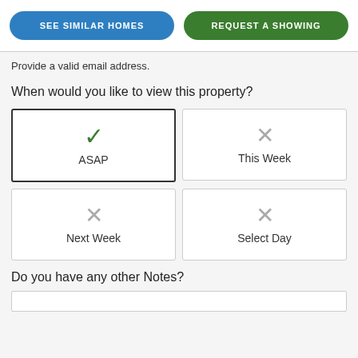SEE SIMILAR HOMES
REQUEST A SHOWING
Provide a valid email address.
When would you like to view this property?
ASAP
This Week
Next Week
Select Day
Do you have any other Notes?